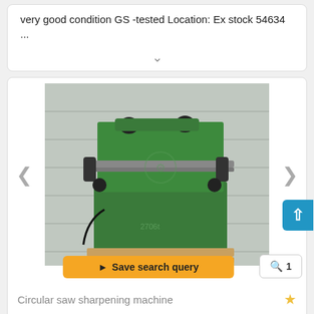very good condition GS -tested Location: Ex stock 54634 ...
[Figure (photo): Green circular saw sharpening machine on wooden pallet, photographed against metal wall background. Number 2706t visible on the machine body.]
Save search query
1
Circular saw sharpening machine